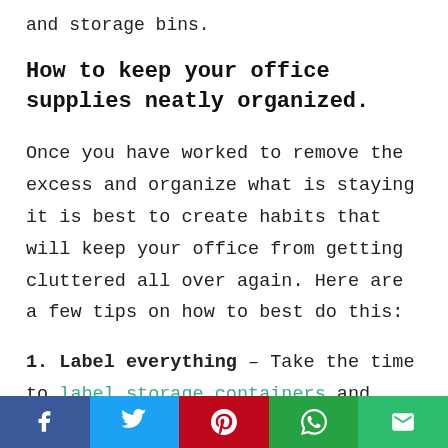and storage bins.
How to keep your office supplies neatly organized.
Once you have worked to remove the excess and organize what is staying it is best to create habits that will keep your office from getting cluttered all over again. Here are a few tips on how to best do this:
1. Label everything – Take the time to label storage containers and drawers so you can easily
Social share bar: Facebook, Twitter, Pinterest, WhatsApp, Email